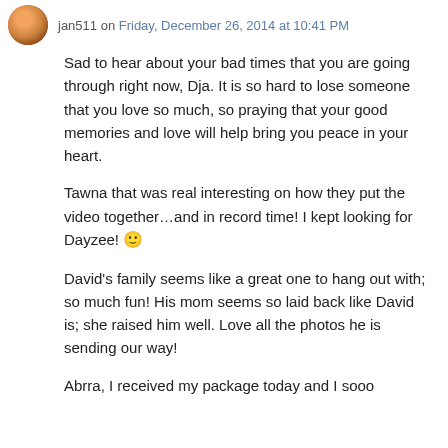jan511 on Friday, December 26, 2014 at 10:41 PM
Sad to hear about your bad times that you are going through right now, Dja. It is so hard to lose someone that you love so much, so praying that your good memories and love will help bring you peace in your heart.
Tawna that was real interesting on how they put the video together…and in record time! I kept looking for Dayzee! 🙂
David's family seems like a great one to hang out with; so much fun! His mom seems so laid back like David is; she raised him well. Love all the photos he is sending our way!
Abrra, I received my package today and I sooo